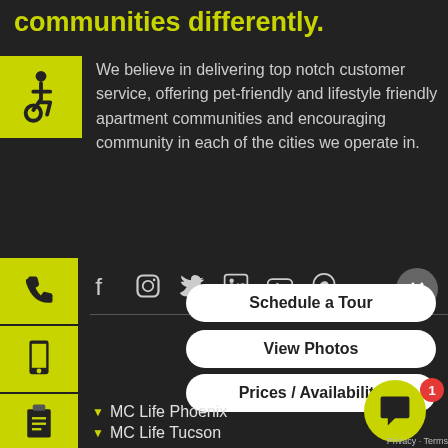communities differently.
We believe in delivering top notch customer service, offering pet-friendly and lifestyle friendly apartment communities and encouraging community in each of the cities we operate in.
[Figure (infographic): Accessibility wheelchair icon on yellow background]
[Figure (infographic): Social media icons row: Facebook, Instagram, Twitter, LinkedIn, YouTube, Pinterest]
[Figure (infographic): Yellow sidebar strips with phone, mobile, and clipboard icons]
Schedule a Tour
View Photos
Prices / Availability
MC Life Phoenix
MC Life Tucson
MC Life Austin
MC Life Dallas
MC Life Houston